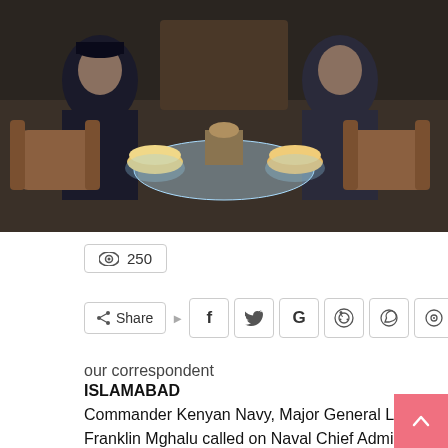[Figure (photo): Two military officials sitting on brown leather chairs around a glass coffee table in a formal meeting room setting]
👁 250
Share  f  𝕏  G  reddit  WhatsApp  Pinterest  +
our correspondent
ISLAMABAD
Commander Kenyan Navy, Major General Levi Franklin Mghalu called on Naval Chief Admiral Zafar Mahmood Abbasi here at the Naval Headquarters on Tuesday. They discussed matters of maritime security, stability and mutual interest including bilateral naval collaboration.
The Naval Chief highlighted Pakistan's commitment